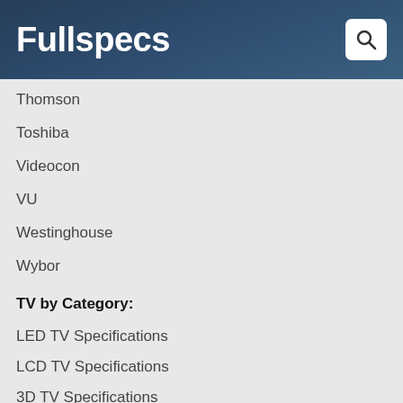Fullspecs
Thomson
Toshiba
Videocon
VU
Westinghouse
Wybor
TV by Category:
LED TV Specifications
LCD TV Specifications
3D TV Specifications
Smart TV Specifications
Plasma TV Specifications
Flat TV Specifications
Android TV Specifications